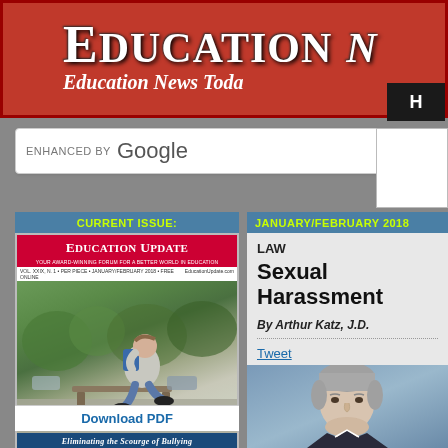EDUCATION | Education News Today
[Figure (screenshot): Google custom search box with blue search button]
CURRENT ISSUE:
[Figure (illustration): Education Update magazine cover - Eliminating the Scourge of Bullying, January/February 2018, showing a student sitting alone with head down]
Download PDF
JANUARY/FEBRUARY 2018
LAW
Sexual Harassment
By Arthur Katz, J.D.
Tweet
[Figure (photo): Headshot photo of Arthur Katz, J.D., gray-haired man in professional attire]